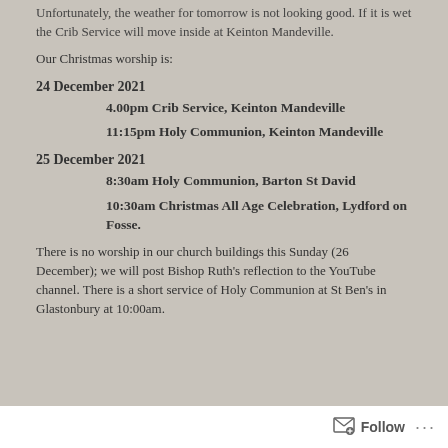Unfortunately, the weather for tomorrow is not looking good. If it is wet the Crib Service will move inside at Keinton Mandeville.
Our Christmas worship is:
24 December 2021
4.00pm Crib Service, Keinton Mandeville
11:15pm Holy Communion, Keinton Mandeville
25 December 2021
8:30am Holy Communion, Barton St David
10:30am Christmas All Age Celebration, Lydford on Fosse.
There is no worship in our church buildings this Sunday (26 December); we will post Bishop Ruth's reflection to the YouTube channel.  There is a short service of Holy Communion at St Ben's in Glastonbury at 10:00am.
Follow